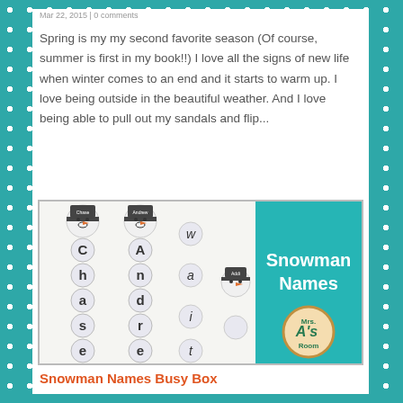Mar 22, 2015 | 0 comments
Spring is my my second favorite season (Of course, summer is first in my book!!) I love all the signs of new life when winter comes to an end and it starts to warm up. I love being outside in the beautiful weather. And I love being able to pull out my sandals and flip...
[Figure (illustration): Snowman Names educational activity image showing snowman figures with letter circles spelling out names (Chase, Andrew, wait) on the left panel and a teal right panel with 'Snowman Names' text and Mrs. A's Room logo]
Snowman Names Busy Box